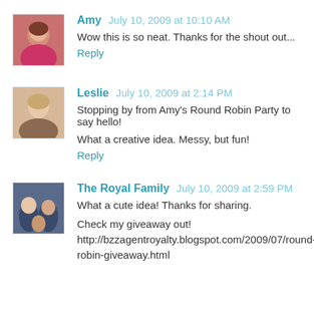[Figure (photo): Avatar photo of Amy - woman in pink top]
Amy July 10, 2009 at 10:10 AM
Wow this is so neat. Thanks for the shout out...
Reply
[Figure (photo): Avatar photo of Leslie - woman with light hair]
Leslie July 10, 2009 at 2:14 PM
Stopping by from Amy's Round Robin Party to say hello!
What a creative idea. Messy, but fun!
Reply
[Figure (photo): Avatar photo of The Royal Family - group photo]
The Royal Family July 10, 2009 at 2:59 PM
What a cute idea! Thanks for sharing.
Check my giveaway out! http://bzzagentroyalty.blogspot.com/2009/07/round-robin-giveaway.html